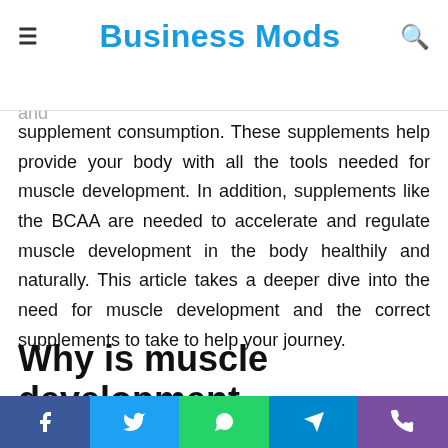≡  Business Mods  🔍
diet that helps in muscle development.
Most muscle development is credited to a good diet and supplement consumption. These supplements help provide your body with all the tools needed for muscle development. In addition, supplements like the BCAA are needed to accelerate and regulate muscle development in the body healthily and naturally. This article takes a deeper dive into the need for muscle development and the correct supplements to take to help your journey.
Why is muscle development significant?
There are several different reasons why muscle development is needed and considered necessary. Some of the dominant